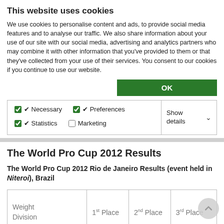This website uses cookies
We use cookies to personalise content and ads, to provide social media features and to analyse our traffic. We also share information about your use of our site with our social media, advertising and analytics partners who may combine it with other information that you've provided to them or that they've collected from your use of their services. You consent to our cookies if you continue to use our website.
OK
Necessary  Preferences  Statistics  Show details  Marketing
The World Pro Cup 2012 Results
The World Pro Cup 2012 Rio de Janeiro Results (event held in Niteroi), Brazil
| Weight Division | 1st Place | 2nd Place | 3rd Place |
| --- | --- | --- | --- |